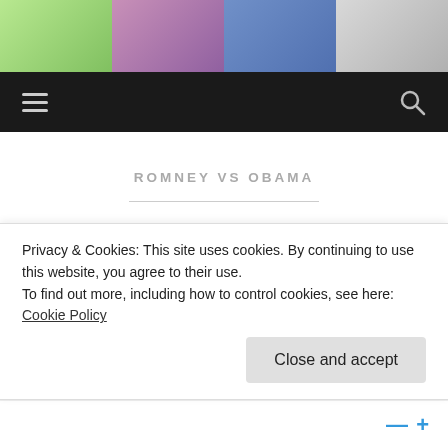[Figure (screenshot): Website header banner showing four comic/cartoon style images side by side]
Navigation bar with hamburger menu icon and search icon on dark background
ROMNEY VS OBAMA
Live A Little & Be Happy (Socrates Recommended It) By
Privacy & Cookies: This site uses cookies. By continuing to use this website, you agree to their use.
To find out more, including how to control cookies, see here: Cookie Policy
Close and accept